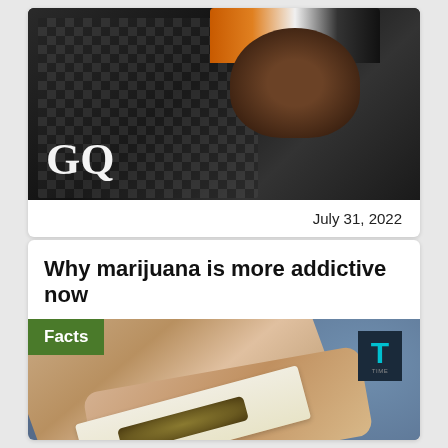[Figure (photo): GQ magazine article card showing a man wearing a patterned cap and checkered clothing, with the GQ logo visible in white at the bottom left of the image]
July 31, 2022
Why marijuana is more addictive now
[Figure (photo): Article thumbnail showing hands rolling a marijuana cigarette with a 'Facts' green badge overlay and a 'T' logo in the top right corner]